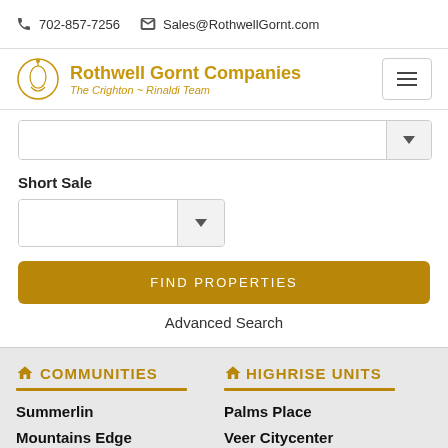702-857-7256   Sales@RothwellGornt.com
[Figure (logo): Rothwell Gornt Companies logo with The Crighton - Rinaldi Team tagline]
[Figure (other): Dropdown select input field (full width)]
Short Sale
[Figure (other): Dropdown select input field (half width)]
FIND PROPERTIES
Advanced Search
COMMUNITIES
Summerlin
Mountains Edge
Green Valley
HIGHRISE UNITS
Palms Place
Veer Citycenter
Mgm - Turnberry